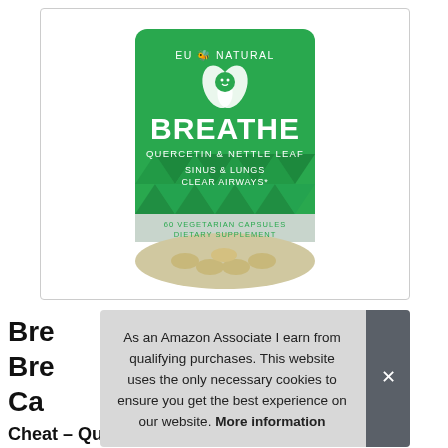[Figure (photo): Product image of Eu Natural BREATHE supplement bottle — green cylindrical container with white logo text reading 'EU NATURAL', 'BREATHE', 'QUERCETIN & NETTLE LEAF', 'SINUS & LUNGS CLEAR AIRWAYS*', '60 VEGETARIAN CAPSULES DIETARY SUPPLEMENT', with a geometric triangle pattern at the bottom and capsules visible in the base. Shown inside a rounded rectangle border.]
Bre
Bre
Ca
Cheat – Quercetin, Breathe Sinus &
As an Amazon Associate I earn from qualifying purchases. This website uses the only necessary cookies to ensure you get the best experience on our website. More information